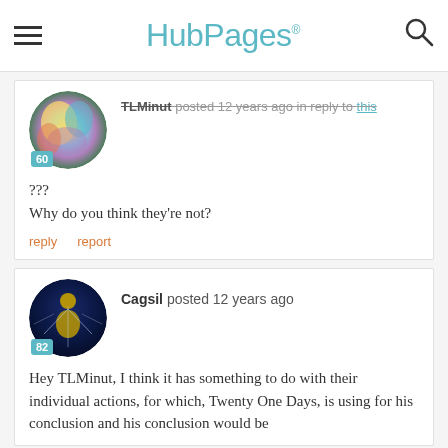HubPages
TLMinut posted 12 years ago in reply to this
???
Why do you think they're not?
reply   report
Cagsil posted 12 years ago
Hey TLMinut, I think it has something to do with their individual actions, for which, Twenty One Days, is using for his conclusion and his conclusion would be